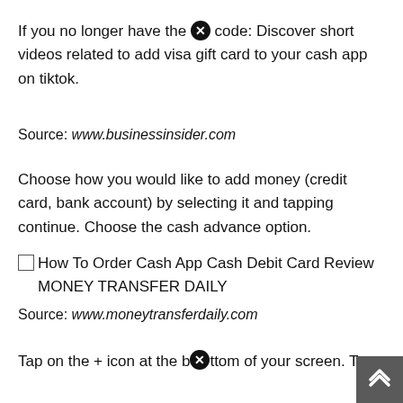If you no longer have the qr code: Discover short videos related to add visa gift card to your cash app on tiktok.
Source: www.businessinsider.com
Choose how you would like to add money (credit card, bank account) by selecting it and tapping continue. Choose the cash advance option.
How To Order Cash App Cash Debit Card Review MONEY TRANSFER DAILY
Source: www.moneytransferdaily.com
Tap on the + icon at the bottom of your screen. Tap